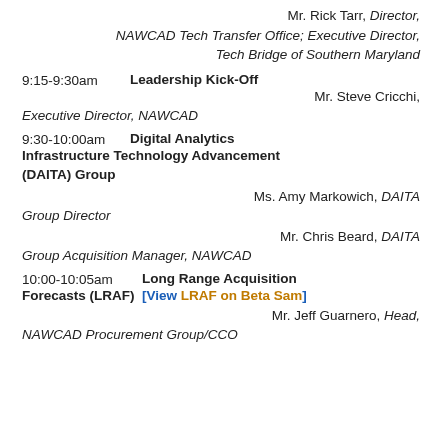Mr. Rick Tarr, Director, NAWCAD Tech Transfer Office; Executive Director, Tech Bridge of Southern Maryland
9:15-9:30am  Leadership Kick-Off  Mr. Steve Cricchi, Executive Director, NAWCAD
9:30-10:00am  Digital Analytics Infrastructure Technology Advancement (DAITA) Group  Ms. Amy Markowich, DAITA Group Director  Mr. Chris Beard, DAITA Group Acquisition Manager, NAWCAD
10:00-10:05am  Long Range Acquisition Forecasts (LRAF)  [View LRAF on Beta Sam]  Mr. Jeff Guarnero, Head, NAWCAD Procurement Group/CCO